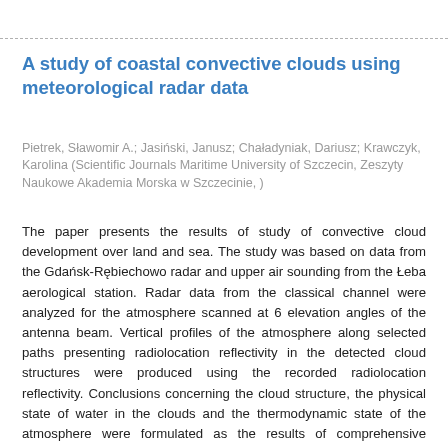A study of coastal convective clouds using meteorological radar data
Pietrek, Sławomir A.; Jasiński, Janusz; Chaładyniak, Dariusz; Krawczyk, Karolina (Scientific Journals Maritime University of Szczecin, Zeszyty Naukowe Akademia Morska w Szczecinie, )
The paper presents the results of study of convective cloud development over land and sea. The study was based on data from the Gdańsk-Rębiechowo radar and upper air sounding from the Łeba aerological station. Radar data from the classical channel were analyzed for the atmosphere scanned at 6 elevation angles of the antenna beam. Vertical profiles of the atmosphere along selected paths presenting radiolocation reflectivity in the detected cloud structures were produced using the recorded radiolocation reflectivity. Conclusions concerning the cloud structure, the physical state of water in the clouds and the thermodynamic state of the atmosphere were formulated as the results of comprehensive analysis of the radar and upper air sounding data. The obtained values of selected parameters and indices were used to quantitatively